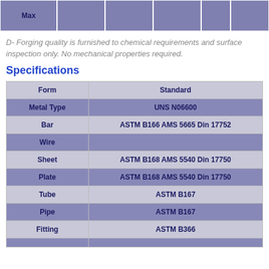| Max |  |  |  |  |  |
| --- | --- | --- | --- | --- | --- |
D- Forging quality is furnished to chemical requirements and surface inspection only. No mechanical properties required.
Specifications
| Form | Standard |
| --- | --- |
| Metal Type | UNS N06600 |
| Bar | ASTM B166 AMS 5665 Din 17752 |
| Wire |  |
| Sheet | ASTM B168 AMS 5540 Din 17750 |
| Plate | ASTM B168 AMS 5540 Din 17750 |
| Tube | ASTM B167 |
| Pipe | ASTM B167 |
| Fitting | ASTM B366 |
|  |  |